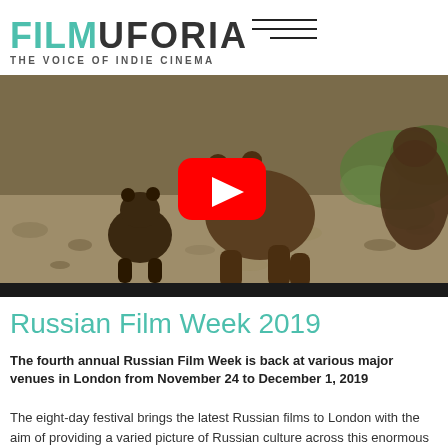FILMUFORIA — THE VOICE OF INDIE CINEMA
[Figure (screenshot): Video thumbnail showing brown bears (mother and cub) walking on a rocky path with green vegetation in the background. A YouTube play button (red rounded rectangle with white triangle) is overlaid in the center.]
Russian Film Week 2019
The fourth annual Russian Film Week is back at various major venues in London from November 24 to December 1, 2019
The eight-day festival brings the latest Russian films to London with the aim of providing a varied picture of Russian culture across this enormous nation. This year's programme showcases